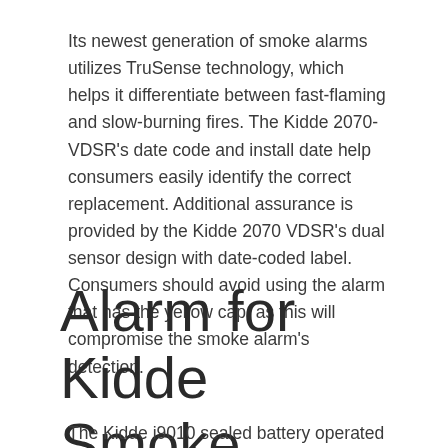Its newest generation of smoke alarms utilizes TruSense technology, which helps it differentiate between fast-flaming and slow-burning fires. The Kidde 2070-VDSR's date code and install date help consumers easily identify the correct replacement. Additional assurance is provided by the Kidde 2070 VDSR's dual sensor design with date-coded label. Consumers should avoid using the alarm that has the yellow cap, as this will compromise the smoke alarm's detection.
Alarm for Kidde Smoke
The Kidde i9010 sealed battery operated